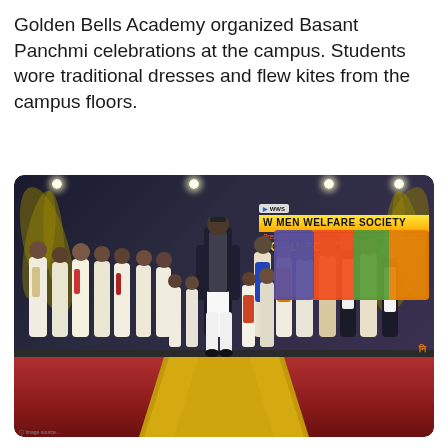Golden Bells Academy organized Basant Panchmi celebrations at the campus. Students wore traditional dresses and flew kites from the campus floors.
[Figure (photo): Students in traditional Indian attire standing on a stage at a Women Welfare Society event. A central figure walks down a runway. A banner in the background reads 'Women Welfare Society Presents Home Contest'. Stage has red flooring with a golden runway.]